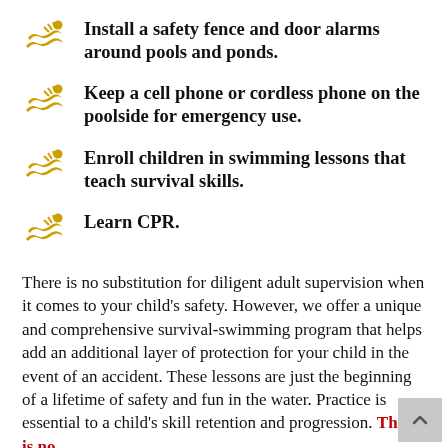Install a safety fence and door alarms around pools and ponds.
Keep a cell phone or cordless phone on the poolside for emergency use.
Enroll children in swimming lessons that teach survival skills.
Learn CPR.
There is no substitution for diligent adult supervision when it comes to your child's safety. However, we offer a unique and comprehensive survival-swimming program that helps add an additional layer of protection for your child in the event of an accident. These lessons are just the beginning of a lifetime of safety and fun in the water. Practice is essential to a child's skill retention and progression. There is no